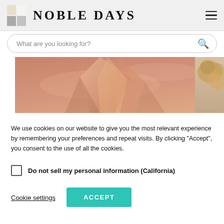NOBLE DAYS
What are you looking for?
[Figure (photo): Rose gold / blush satin silk pillow with a folded fabric detail; dried floral arrangement visible on right edge]
We use cookies on our website to give you the most relevant experience by remembering your preferences and repeat visits. By clicking “Accept”, you consent to the use of all the cookies.
Do not sell my personal information (California)
Cookie settings
ACCEPT